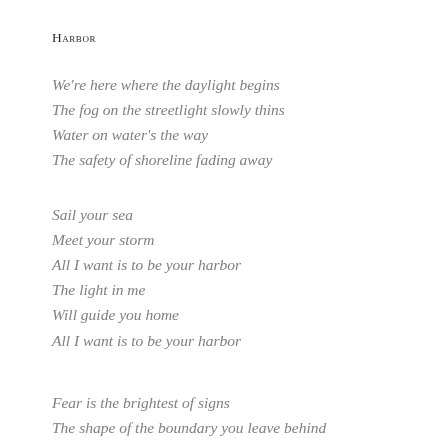Harbor
We're here where the daylight begins
The fog on the streetlight slowly thins
Water on water's the way
The safety of shoreline fading away
Sail your sea
Meet your storm
All I want is to be your harbor
The light in me
Will guide you home
All I want is to be your harbor
Fear is the brightest of signs
The shape of the boundary you leave behind